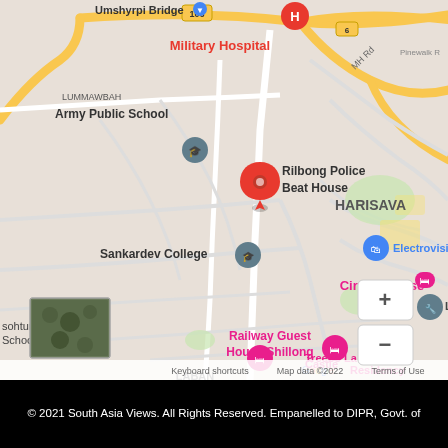[Figure (map): Google Maps view of Rilbong area, Shillong, showing Military Hospital, Army Public School (LUMMAWBAH), Sankardev College, Circuit House, Railway Guest House Shillong, Treebo La Castle Residency, Electrovision, Laban Beat, HARISAVA area. A red location pin marks Rilbong Police Beat House. Zoom controls (+/-) visible at bottom right. Satellite thumbnail at bottom left. Map data ©2022. Roads shown in white/grey on light background with yellow major roads.]
© 2021 South Asia Views. All Rights Reserved. Empanelled to DIPR, Govt. of